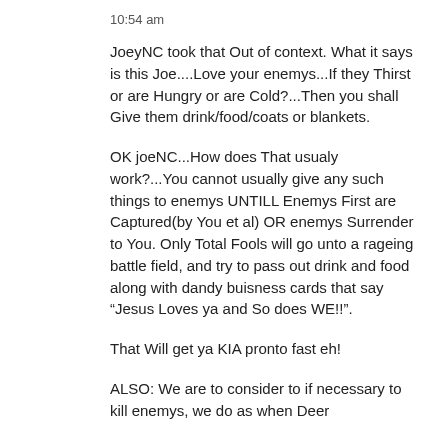10:54 am
JoeyNC took that Out of context. What it says is this Joe....Love your enemys...If they Thirst or are Hungry or are Cold?...Then you shall Give them drink/food/coats or blankets.
OK joeNC...How does That usualy work?...You cannot usually give any such things to enemys UNTILL Enemys First are Captured(by You et al) OR enemys Surrender to You. Only Total Fools will go unto a rageing battle field, and try to pass out drink and food along with dandy buisness cards that say “Jesus Loves ya and So does WE!!”.
That Will get ya KIA pronto fast eh!
ALSO: We are to consider to if necessary to kill enemys, we do as when Deer